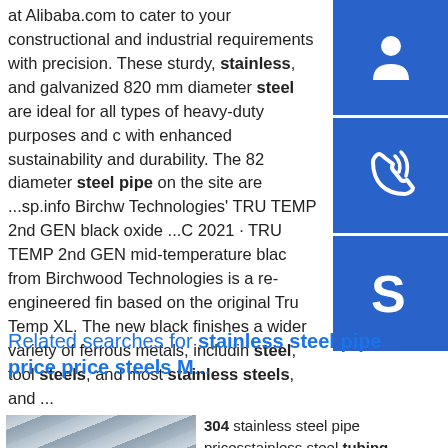at Alibaba.com to cater to your constructional and industrial requirements with precision. These sturdy, stainless, and galvanized 820 mm diameter steel are ideal for all types of heavy-duty purposes and with enhanced sustainability and durability. The 820 diameter steel pipe on the site are ...sp.info Birchwood Technologies' TRU TEMP 2nd GEN black oxide ... 2021 · TRU TEMP 2nd GEN mid-temperature black from Birchwood Technologies is a re-engineered finish based on the original Tru Temp XL. The new black finishes a wider variety of ferrous metals, including steel, tool steels, and most stainless steels, and ...
[Figure (illustration): Blue sidebar button with white customer service headset icon]
[Figure (illustration): Blue sidebar button with white phone/call icon]
[Figure (illustration): Blue sidebar button with white Skype logo icon]
Related searches for stainless steel pipe price price steels M...
[Figure (photo): Photo of stainless steel sheets/pipes with metallic surface]
304 stainless steel pipe pricesstainless steel tubing suppliersstainless steel price per pound stainless steel...